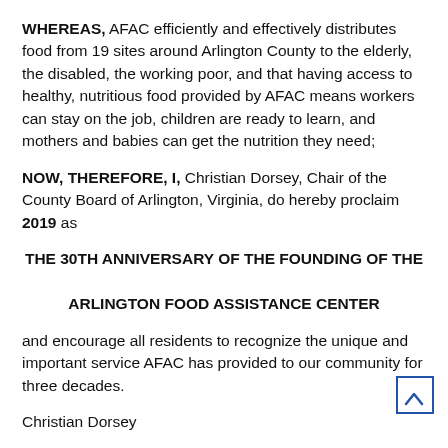WHEREAS, AFAC efficiently and effectively distributes food from 19 sites around Arlington County to the elderly, the disabled, the working poor, and that having access to healthy, nutritious food provided by AFAC means workers can stay on the job, children are ready to learn, and mothers and babies can get the nutrition they need;
NOW, THEREFORE, I, Christian Dorsey, Chair of the County Board of Arlington, Virginia, do hereby proclaim 2019 as
THE 30TH ANNIVERSARY OF THE FOUNDING OF THE ARLINGTON FOOD ASSISTANCE CENTER
and encourage all residents to recognize the unique and important service AFAC has provided to our community for three decades.
Christian Dorsey